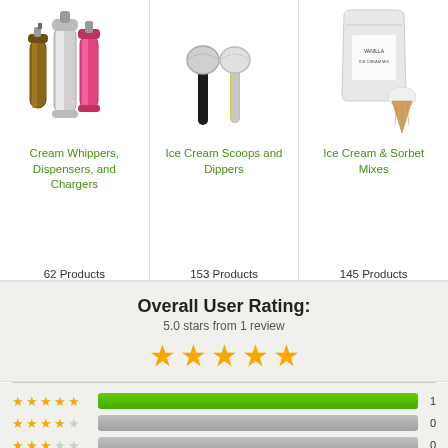[Figure (photo): Cream whippers dispensers and chargers product image – metal and pink bottles]
Cream Whippers, Dispensers, and Chargers
62 Products
[Figure (photo): Ice cream scoops and dippers – two silver scoop tools]
Ice Cream Scoops and Dippers
153 Products
[Figure (photo): Ice cream and sorbet mixes – bag with ice cream cone]
Ice Cream & Sorbet Mixes
145 Products
Overall User Rating:
5.0 stars from 1 review
[Figure (infographic): 5 gold stars rating display]
[Figure (bar-chart): Rating breakdown]